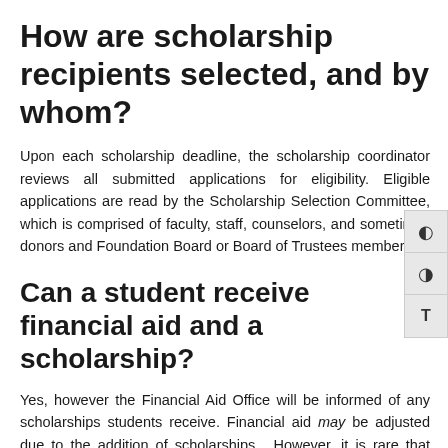How are scholarship recipients selected, and by whom?
Upon each scholarship deadline, the scholarship coordinator reviews all submitted applications for eligibility. Eligible applications are read by the Scholarship Selection Committee, which is comprised of faculty, staff, counselors, and sometimes donors and Foundation Board or Board of Trustees members.
Can a student receive financial aid and a scholarship?
Yes, however the Financial Aid Office will be informed of any scholarships students receive. Financial aid may be adjusted due to the addition of scholarships. However, it is rare that student financial aid is affected.
Can a student receive more than one scholarship?